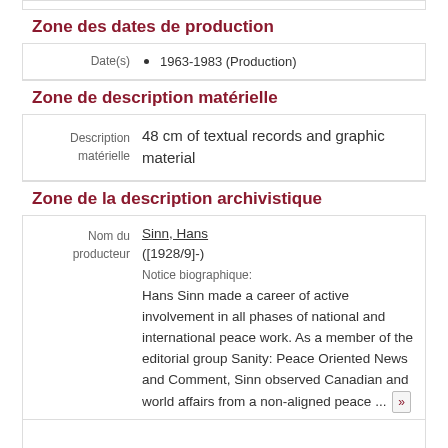Zone des dates de production
| Date(s) |  |
| --- | --- |
| Date(s) | 1963-1983 (Production) |
Zone de description matérielle
| Description matérielle |  |
| --- | --- |
| Description matérielle | 48 cm of textual records and graphic material |
Zone de la description archivistique
| Nom du producteur |  |
| --- | --- |
| Nom du producteur | Sinn, Hans ([1928/9]-) Notice biographique: Hans Sinn made a career of active involvement in all phases of national and international peace work. As a member of the editorial group Sanity: Peace Oriented News and Comment, Sinn observed Canadian and world affairs from a non-aligned peace ... |